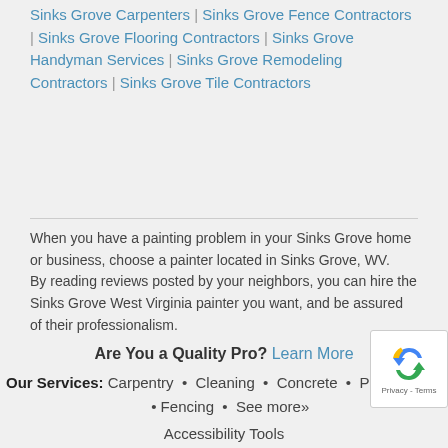Sinks Grove Carpenters | Sinks Grove Fence Contractors | Sinks Grove Flooring Contractors | Sinks Grove Handyman Services | Sinks Grove Remodeling Contractors | Sinks Grove Tile Contractors
When you have a painting problem in your Sinks Grove home or business, choose a painter located in Sinks Grove, WV.
By reading reviews posted by your neighbors, you can hire the Sinks Grove West Virginia painter you want, and be assured of their professionalism.
Are You a Quality Pro? Learn More
Our Services: Carpentry • Cleaning • Concrete • Pest Control • Fencing • See more»
Accessibility Tools